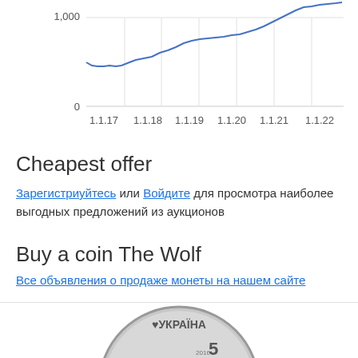[Figure (line-chart): Price history]
Cheapest offer
Зарегистриуйтесь или Войдите для просмотра наиболее выгодных предложений из аукционов
Buy a coin The Wolf
Все объявления о продаже монеты на нашем сайте
[Figure (photo): Ukrainian coin - 5 hryvnias with wolf design, gold and silver bimetallic, inscribed УКРАЇНА and ГРИВЕНЬ]